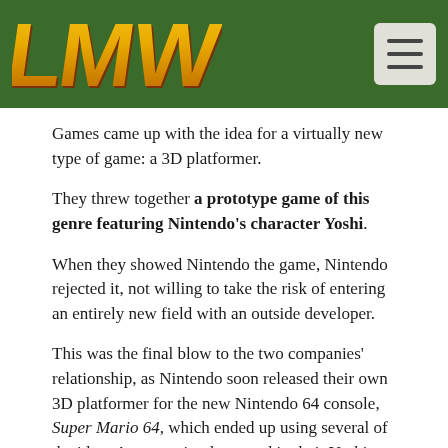[Figure (logo): LMW logo in gold/orange stylized letters on a dark green banner header, with a hamburger menu icon in the top right corner]
Games came up with the idea for a virtually new type of game: a 3D platformer.
They threw together a prototype game of this genre featuring Nintendo's character Yoshi.
When they showed Nintendo the game, Nintendo rejected it, not willing to take the risk of entering an entirely new field with an outside developer.
This was the final blow to the two companies' relationship, as Nintendo soon released their own 3D platformer for the new Nintendo 64 console, Super Mario 64, which ended up using several of the ideas Argonaut implemented in their Yoshi prototype. Shigeru Miyamoto later apologized to them.
This prototype has never surfaced, and no one